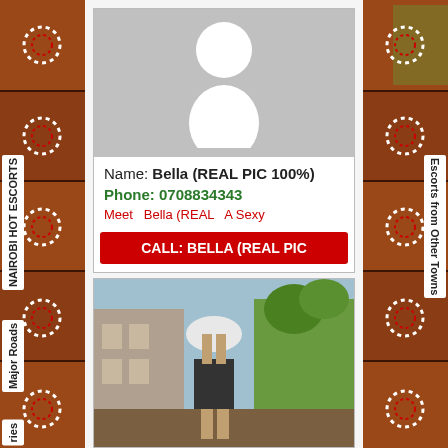[Figure (illustration): Left decorative sidebar with brownish-red tiled images and white circular decorations with red dashed borders]
NAIROBI HOT ESCORTS
Major Roads
ries
[Figure (illustration): Right decorative sidebar with brownish-red tiled images]
Escorts from Other Towns
[Figure (photo): Gray placeholder profile silhouette image]
Name: Bella (REAL PIC 100%)
Phone: 0708834343
Meet  Bella (REAL  A Sexy
CALL:  BELLA (REAL PIC
[Figure (photo): Photo of a person outdoors near a building, wearing dark shorts, holding something white above their head]